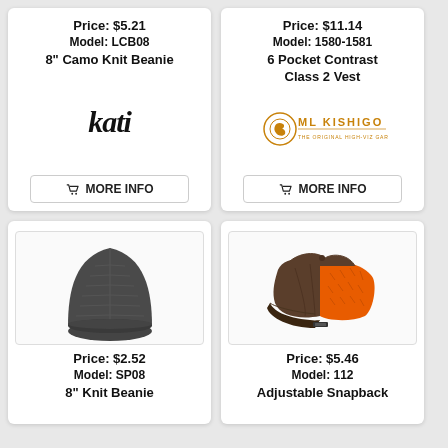Price: $5.21
Model: LCB08
8" Camo Knit Beanie
[Figure (logo): Kati brand logo in bold italic black text]
MORE INFO
Price: $11.14
Model: 1580-1581
6 Pocket Contrast Class 2 Vest
[Figure (logo): ML Kishigo brand logo in gold/orange text with emblem]
MORE INFO
[Figure (photo): Dark charcoal gray knit beanie hat]
Price: $2.52
Model: SP08
8" Knit Beanie
[Figure (photo): Brown and orange trucker snapback cap]
Price: $5.46
Model: 112
Adjustable Snapback